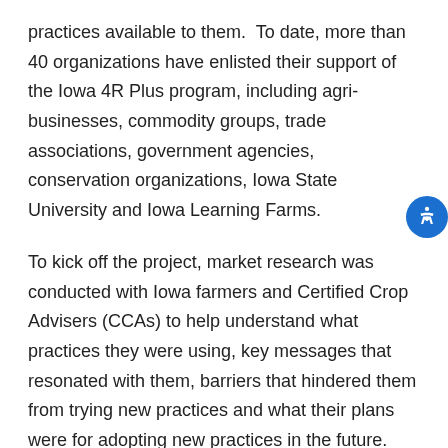practices available to them.  To date, more than 40 organizations have enlisted their support of the Iowa 4R Plus program, including agri-businesses, commodity groups, trade associations, government agencies, conservation organizations, Iowa State University and Iowa Learning Farms.
To kick off the project, market research was conducted with Iowa farmers and Certified Crop Advisers (CCAs) to help understand what practices they were using, key messages that resonated with them, barriers that hindered them from trying new practices and what their plans were for adopting new practices in the future.  The results showed that messages that resonated the strongest with farmers centered on 1) the role of healthy soil in addressing more extreme precipitation patterns,